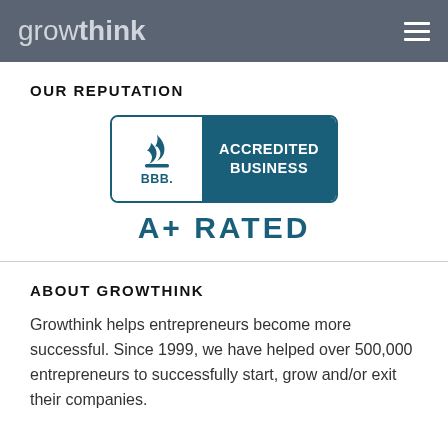growthink
OUR REPUTATION
[Figure (logo): BBB Accredited Business A+ Rated badge]
ABOUT GROWTHINK
Growthink helps entrepreneurs become more successful. Since 1999, we have helped over 500,000 entrepreneurs to successfully start, grow and/or exit their companies.